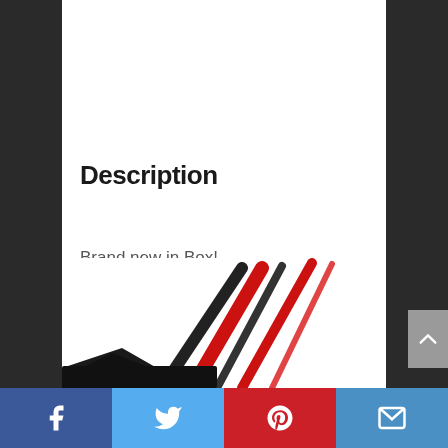Description
Brand new in Box!
8. Metra Axxess ASWC-1 Universal Steering Wheel Control Interface
[Figure (photo): Partial view of Metra Axxess ASWC-1 device with red and black wiring connectors visible at bottom of page]
Facebook | Twitter | Pinterest | Email social share bar